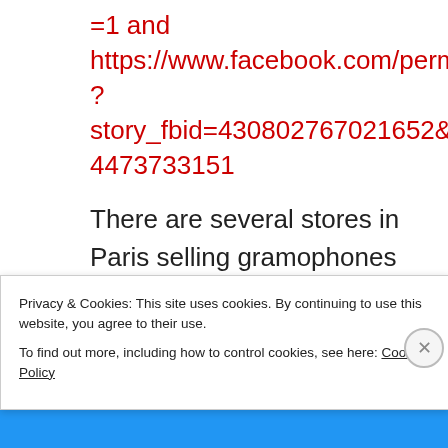=1 and https://www.facebook.com/permalink.php?story_fbid=430802767021652&id=130354473733151
There are several stores in Paris selling gramophones for vertical cut records, but these machines are expensive… Try eBay?
Privacy & Cookies: This site uses cookies. By continuing to use this website, you agree to their use.
To find out more, including how to control cookies, see here: Cookie Policy
Close and accept